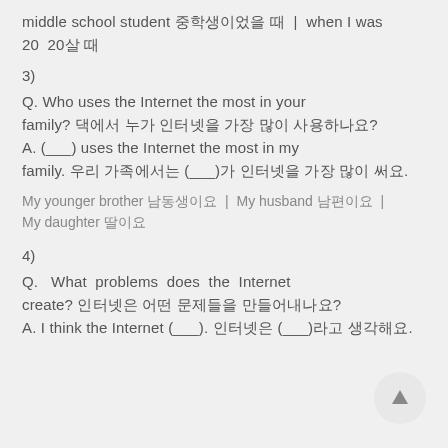middle school student 중학생이었을 때 | when I was 20 20살 때
3)
Q. Who uses the Internet the most in your family? 댁에서 누가 인터넷을 가장 많이 사용하나요?
A. (___) uses the Internet the most in my family. 우리 가족에서는 (___)가 인터넷을 가장 많이 써요.
My younger brother 남동생이요 | My husband 남편이요 | My daughter 딸이요
4)
Q. What problems does the Internet create? 인터넷은 어떤 문제들을 만들어내나요?
A. I think the Internet (___). 인터넷은 (___)라고 생각해요.